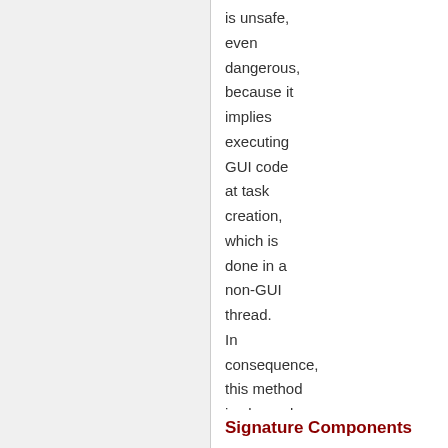is unsafe, even dangerous, because it implies executing GUI code at task creation, which is done in a non-GUI thread. In consequence, this method is planned to be removed.
Signature Components